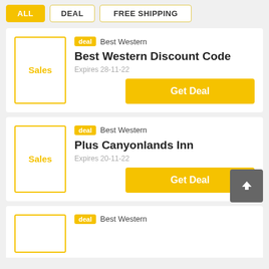ALL
DEAL
FREE SHIPPING
deal  Best Western
Best Western Discount Code
Expires 28-11-22
Get Deal
deal  Best Western
Plus Canyonlands Inn
Expires 20-11-22
Get Deal
deal  Best Western